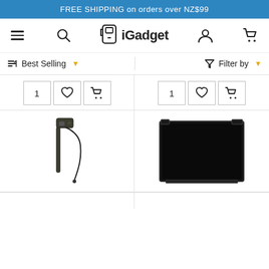FREE SHIPPING on orders over NZ$99
iGadget — navigation bar with hamburger menu, search, logo, user account, and cart icons
Best Selling  ▾   Filter by  ▾
[Figure (screenshot): Product card row 1 left: quantity selector showing '1', wishlist heart button, add-to-cart button]
[Figure (screenshot): Product card row 1 right: quantity selector showing '1', wishlist heart button, add-to-cart button]
[Figure (photo): Product image: dark-colored iPad antenna/cable assembly component on white background]
[Figure (photo): Product image: black iPad LCD screen panel on white background]
[Figure (photo): Bottom partial product card left (image cut off)]
[Figure (photo): Bottom partial product card right (image cut off)]